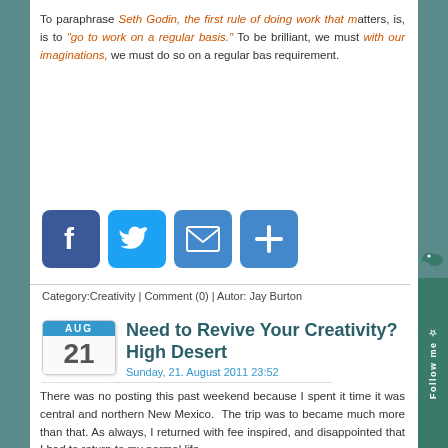To paraphrase Seth Godin, the first rule of doing work that matters, is, is to "go to work on a regular basis." To be brilliant, we must work with our imaginations, we must do so on a regular basis as a requirement.
[Figure (other): Social sharing buttons: Facebook, Twitter, Email, Share (plus icon)]
Category:Creativity | Comment (0) | Autor: Jay Burton
Need to Revive Your Creativity? High Desert
Sunday, 21. August 2011 23:52
There was no posting this past weekend because I spent it time it was central and northern New Mexico. The trip was to became much more than that. As always, I returned with fee inspired, and disappointed that I had to return to my normal life